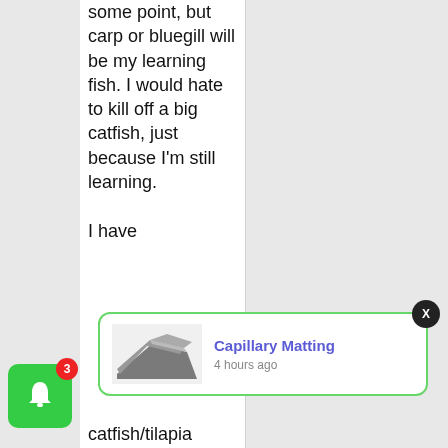some point, but carp or bluegill will be my learning fish. I would hate to kill off a big catfish, just because I'm still learning.
[Figure (screenshot): Notification popup for 'Capillary Matting' with product image and timestamp '4 hours ago', with a green border and X close button]
I have
catfish/tilapia